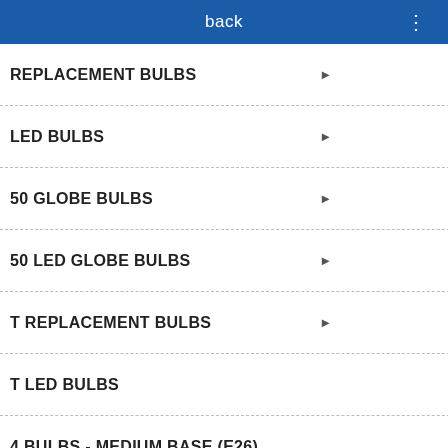back ⋮
REPLACEMENT BULBS
LED BULBS
50 GLOBE BULBS
50 LED GLOBE BULBS
T REPLACEMENT BULBS
T LED BULBS
4 BULBS - MEDIUM BASE (E26)
4 LED BULBS - MEDIUM BASE (E26)
er set
CS
[Figure (photo): Product image showing string lights with 150 bulbs, 15 feet badge]
Accept and Close ✕
ing. Click on this page to allow
r opt out of this AdRoll tracking